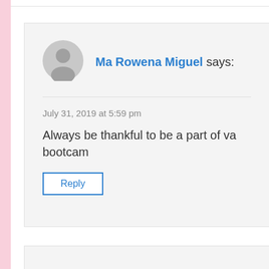[Figure (illustration): Gray default user avatar circle with person silhouette]
Ma Rowena Miguel says:
July 31, 2019 at 5:59 pm
Always be thankful to be a part of va bootca...
Reply